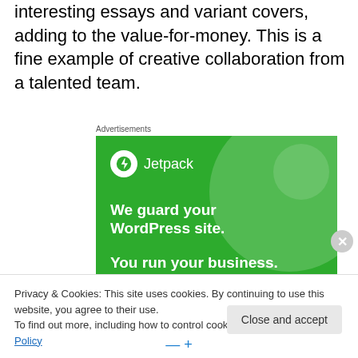interesting essays and variant covers, adding to the value-for-money. This is a fine example of creative collaboration from a talented team.
[Figure (screenshot): Jetpack advertisement banner with green background showing logo, 'We guard your WordPress site. You run your business.' text]
Privacy & Cookies: This site uses cookies. By continuing to use this website, you agree to their use. To find out more, including how to control cookies, see here: Cookie Policy